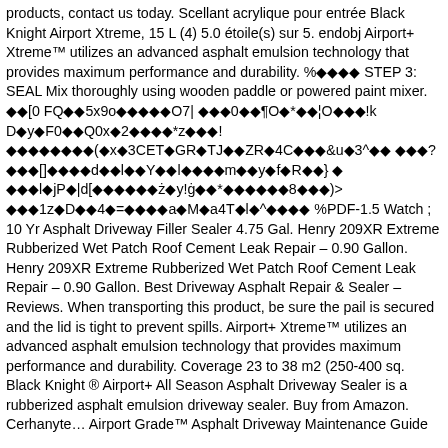products, contact us today. Scellant acrylique pour entrée Black Knight Airport Xtreme, 15 L (4) 5.0 étoile(s) sur 5. endobj Airport+ Xtreme™ utilizes an advanced asphalt emulsion technology that provides maximum performance and durability. %◆◆◆◆ STEP 3: SEAL Mix thoroughly using wooden paddle or powered paint mixer. ◆◆[0 FQ◆◆5x9o◆◆◆◆◆O7| ◆◆◆0◆◆¶O◆*◆◆¦O◆◆◆!k D◆y◆F0◆◆Q0x◆2◆◆◆◆*z◆◆◆! ◆◆◆◆◆◆◆◆(◆x◆3CET◆GR◆TJ◆◆ZR◆4C◆◆◆&u◆3^◆◆ ◆◆◆?◆◆◆[]◆◆◆◆d◆◆l◆◆Y◆◆l◆◆◆◆m◆◆y◆f◆R◆◆} ◆ ◆◆◆l◆jP◆|d[◆◆◆◆◆◆ż◆y!ġ◆◆*◆◆◆◆◆◆8◆◆◆)> ◆◆◆1z◆D◆◆4◆=◆◆◆◆a◆M◆a4T◆l◆^◆◆◆◆ %PDF-1.5 Watch ; 10 Yr Asphalt Driveway Filler Sealer 4.75 Gal. Henry 209XR Extreme Rubberized Wet Patch Roof Cement Leak Repair – 0.90 Gallon. Henry 209XR Extreme Rubberized Wet Patch Roof Cement Leak Repair – 0.90 Gallon. Best Driveway Asphalt Repair & Sealer – Reviews. When transporting this product, be sure the pail is secured and the lid is tight to prevent spills. Airport+ Xtreme™ utilizes an advanced asphalt emulsion technology that provides maximum performance and durability. Coverage 23 to 38 m2 (250-400 sq. Black Knight ® Airport+ All Season Asphalt Driveway Sealer is a rubberized asphalt emulsion driveway sealer. Buy from Amazon. Cerhanyte... Airport Grade™ Asphalt Driveway Maintenance Guide